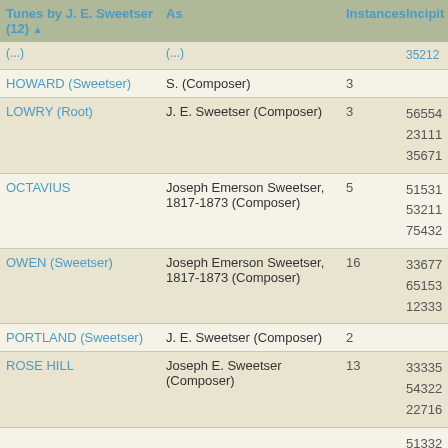| Tunes by J. E. Sweetser (12) | As | Instances | Incipit |
| --- | --- | --- | --- |
| (...) | (...) |  | 35212 |
| HOWARD (Sweetser) | S. (Composer) | 3 |  |
| LOWRY (Root) | J. E. Sweetser (Composer) | 3 | 56554
23111
35671 |
| OCTAVIUS | Joseph Emerson Sweetser, 1817-1873 (Composer) | 5 | 51531
53211
75432 |
| OWEN (Sweetser) | Joseph Emerson Sweetser, 1817-1873 (Composer) | 16 | 33677
65153
12333 |
| PORTLAND (Sweetser) | J. E. Sweetser (Composer) | 2 |  |
| ROSE HILL | Joseph E. Sweetser (Composer) | 13 | 33335
54322
22716 |
|  |  |  | 51332 |